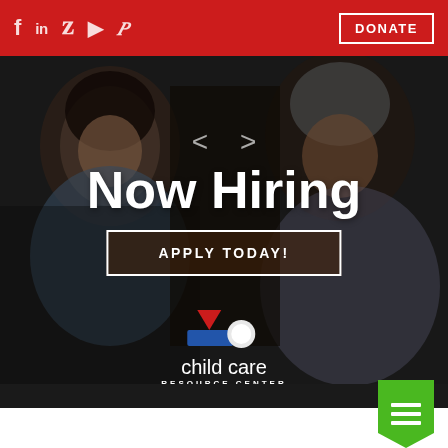Social icons: f in y (YouTube) p | DONATE
[Figure (photo): Two smiling women sitting at a table together, one with dark curly hair wearing a blue denim jacket, the other with grey hair wearing a light lavender top, dark background with dim lighting]
Now Hiring
APPLY TODAY!
[Figure (logo): Child Care Resource Center logo: red triangle, blue rectangle, white circle shapes above text reading 'child care RESOURCE CENTER']
Green menu/hamburger button